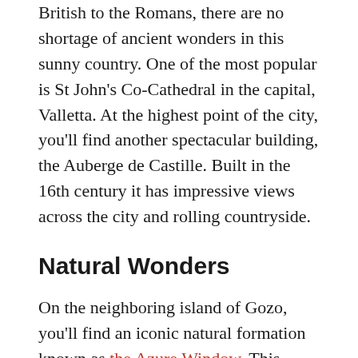British to the Romans, there are no shortage of ancient wonders in this sunny country. One of the most popular is St John's Co-Cathedral in the capital, Valletta. At the highest point of the city, you'll find another spectacular building, the Auberge de Castille. Built in the 16th century it has impressive views across the city and rolling countryside.
Natural Wonders
On the neighboring island of Gozo, you'll find an iconic natural formation known as the Azure Window. This limestone arch rising through the crystal waters has long been a favorite of photographers and painters. Wildlife fanatics will also enjoy a day at Il-Majjistral Nature and History Park. You can take a guided tour along dramatic cliffs, agricultural lands and coastal paths.